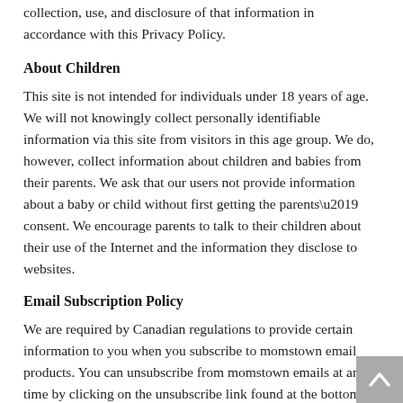collection, use, and disclosure of that information in accordance with this Privacy Policy.
About Children
This site is not intended for individuals under 18 years of age. We will not knowingly collect personally identifiable information via this site from visitors in this age group. We do, however, collect information about children and babies from their parents. We ask that our users not provide information about a baby or child without first getting the parents’ consent. We encourage parents to talk to their children about their use of the Internet and the information they disclose to websites.
Email Subscription Policy
We are required by Canadian regulations to provide certain information to you when you subscribe to momstown email products. You can unsubscribe from momstown emails at any time by clicking on the unsubscribe link found at the bottom of every email. You can send us your questions by email or by